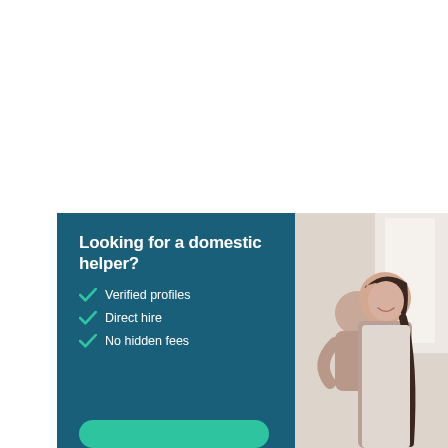Looking for a domestic helper?
Verified profiles
Direct hire
No hidden fees
[Figure (photo): A smiling woman hugging a child, photographed indoors with bright natural light in the background.]